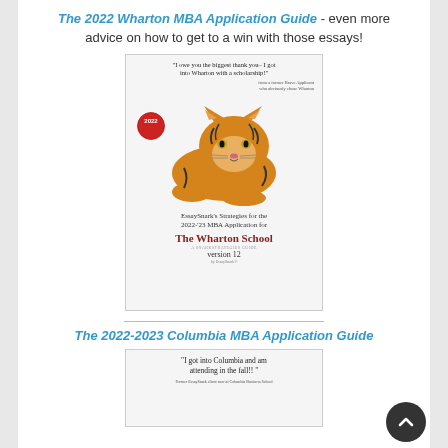The 2022 Wharton MBA Application Guide - even more advice on how to get to a win with those essays!
[Figure (photo): Book cover of EssaySnark's Strategies for the 2022-23 MBA Application for The Wharton School, version 12, featuring a tiger cub and a 2022 badge. Quote: 'I owe you the biggest thank you– I got into Wharton with a scholarship!']
The 2022-2023 Columbia MBA Application Guide
[Figure (photo): Book cover of Columbia MBA Application Guide. Quote: 'I got into Columbia and am attending in the fall!!']